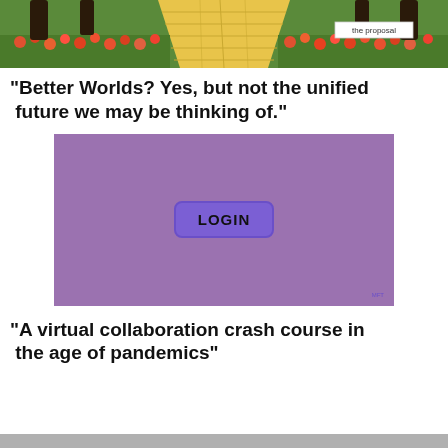[Figure (illustration): Top portion of a colorful garden scene with yellow brick path, flowers, and trees. Contains a white label box with text 'the proposal'.]
"Better Worlds? Yes, but not the unified future we may be thinking of."
[Figure (screenshot): Purple/mauve background screenshot showing a LOGIN button in the center with rounded rectangle border, and small text in the lower right corner.]
"A virtual collaboration crash course in the age of pandemics"